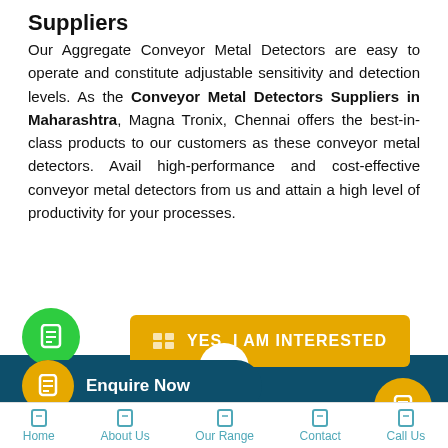Trusted Conveyor Metal Detectors Suppliers
Our Aggregate Conveyor Metal Detectors are easy to operate and constitute adjustable sensitivity and detection levels. As the Conveyor Metal Detectors Suppliers in Maharashtra, Magna Tronix, Chennai offers the best-in-class products to our customers as these conveyor metal detectors. Avail high-performance and cost-effective conveyor metal detectors from us and attain a high level of productivity for your processes.
[Figure (other): Green WhatsApp circle button, yellow YES I AM INTERESTED button, teal Enquire Now pill button with orange circle icon, right orange circle button]
[Figure (other): Teal banner partially visible reading 'You may also Like' with white circle]
Home   About Us   Our Range   Contact   Call Us